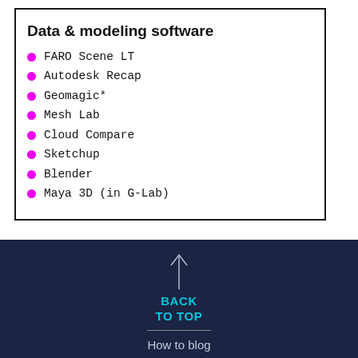Data & modeling software
FARO Scene LT
Autodesk Recap
Geomagic*
Mesh Lab
Cloud Compare
Sketchup
Blender
Maya 3D (in G-Lab)
BACK TO TOP
How to blog